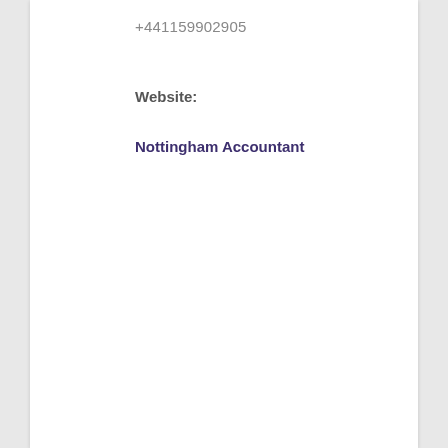+441159902905
Website:
Nottingham Accountant